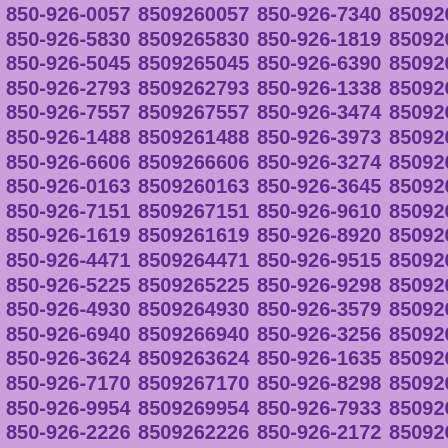850-926-0057 8509260057 850-926-7340 8509267340 850-926-5830 8509265830 850-926-1819 8509261819 850-926-5045 8509265045 850-926-6390 8509266390 850-926-2793 8509262793 850-926-1338 8509261338 850-926-7557 8509267557 850-926-3474 8509263474 850-926-1488 8509261488 850-926-3973 8509263973 850-926-6606 8509266606 850-926-3274 8509263274 850-926-0163 8509260163 850-926-3645 8509263645 850-926-7151 8509267151 850-926-9610 8509269610 850-926-1619 8509261619 850-926-8920 8509268920 850-926-4471 8509264471 850-926-9515 8509269515 850-926-5225 8509265225 850-926-9298 8509269298 850-926-4930 8509264930 850-926-3579 8509263579 850-926-6940 8509266940 850-926-3256 8509263256 850-926-3624 8509263624 850-926-1635 8509261635 850-926-7170 8509267170 850-926-8298 8509268298 850-926-9954 8509269954 850-926-7933 8509267933 850-926-2226 8509262226 850-926-2172 8509262172 850-926-2282 8509262282 850-926-2249 8509262249 850-926-8742 8509268742 850-926-3657 8509263657 850-926-0218 8509260218 850-926-7138 8509267138